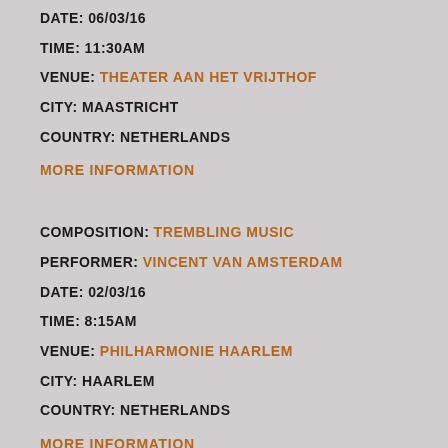DATE: 06/03/16
TIME: 11:30AM
VENUE: THEATER AAN HET VRIJTHOF
CITY: MAASTRICHT
COUNTRY: NETHERLANDS
MORE INFORMATION
COMPOSITION: TREMBLING MUSIC
PERFORMER: VINCENT VAN AMSTERDAM
DATE: 02/03/16
TIME: 8:15AM
VENUE: PHILHARMONIE HAARLEM
CITY: HAARLEM
COUNTRY: NETHERLANDS
MORE INFORMATION